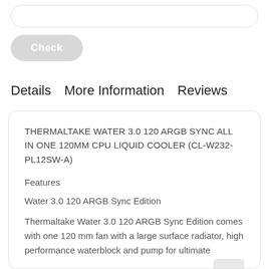[Figure (screenshot): Input field with rounded border at the top of the page]
[Figure (screenshot): Gray rounded 'Check' button]
Details   More Information   Reviews
THERMALTAKE WATER 3.0 120 ARGB SYNC ALL IN ONE 120MM CPU LIQUID COOLER (CL-W232-PL12SW-A)
Features
Water 3.0 120 ARGB Sync Edition
Thermaltake Water 3.0 120 ARGB Sync Edition comes with one 120 mm fan with a large surface radiator, high performance waterblock and pump for ultimate